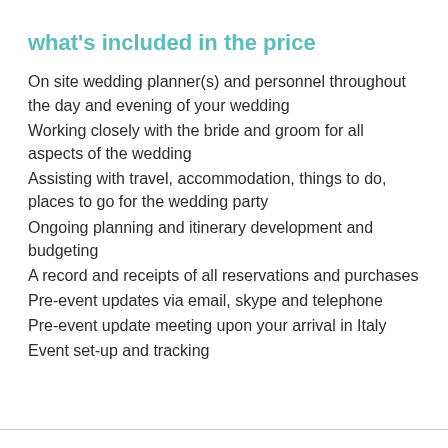what's included in the price
On site wedding planner(s) and personnel throughout the day and evening of your wedding
Working closely with the bride and groom for all aspects of the wedding
Assisting with travel, accommodation, things to do, places to go for the wedding party
Ongoing planning and itinerary development and budgeting
A record and receipts of all reservations and purchases
Pre-event updates via email, skype and telephone
Pre-event update meeting upon your arrival in Italy
Event set-up and tracking